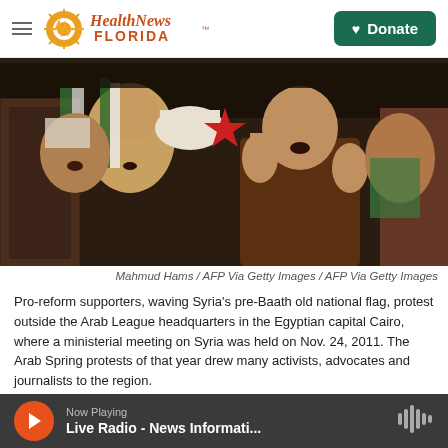Health News Florida — Donate
[Figure (photo): Crowd of pro-reform supporters waving Syria's pre-Baath old national flag, protesting outside the Arab League headquarters in Cairo, Egypt, November 2011. Several men are shouting and raising their hands.]
Mahmud Hams / AFP Via Getty Images / AFP Via Getty Images
Pro-reform supporters, waving Syria's pre-Baath old national flag, protest outside the Arab League headquarters in the Egyptian capital Cairo, where a ministerial meeting on Syria was held on Nov. 24, 2011. The Arab Spring protests of that year drew many activists, advocates and journalists to the region.
They were drawn to the Arab Spring
Now Playing — Live Radio - News Informati...